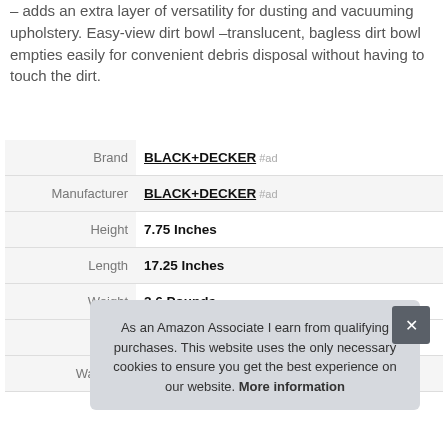– adds an extra layer of versatility for dusting and vacuuming upholstery. Easy-view dirt bowl –translucent, bagless dirt bowl empties easily for convenient debris disposal without having to touch the dirt.
|  |  |
| --- | --- |
| Brand | BLACK+DECKER #ad |
| Manufacturer | BLACK+DECKER #ad |
| Height | 7.75 Inches |
| Length | 17.25 Inches |
| Weight | 2.6 Pounds |
| P |  |
| Warranty | 2 year limited warranty. |
As an Amazon Associate I earn from qualifying purchases. This website uses the only necessary cookies to ensure you get the best experience on our website. More information